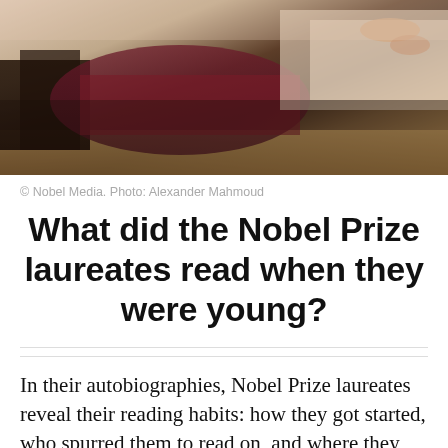[Figure (photo): Close-up photo of books or manuscripts on a desk, blurred background with warm beige, brown, and dark tones suggesting aged paper and book covers.]
© Nobel Media. Photo: Alexander Mahmoud
What did the Nobel Prize laureates read when they were young?
In their autobiographies, Nobel Prize laureates reveal their reading habits: how they got started, who spurred them to read on, and where they spent their time